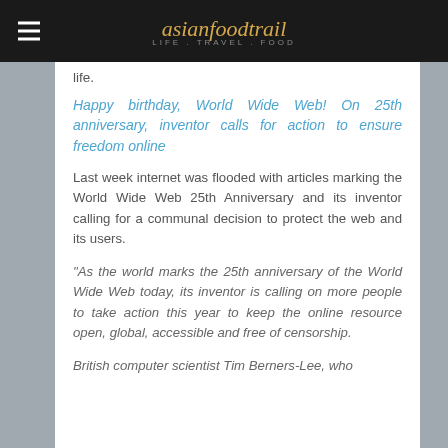asianfoodtrail LIFE. TRAVEL. FOOD
life.
Happy birthday, World Wide Web! On 25th anniversary, inventor calls for action to ensure freedom online
Last week internet was flooded with articles marking the World Wide Web 25th Anniversary and its inventor calling for a communal decision to protect the web and its users.
“As the world marks the 25th anniversary of the World Wide Web today, its inventor is calling on more people to take action this year to keep the online resource open, global, accessible and free of censorship.
British computer scientist Tim Berners-Lee, who